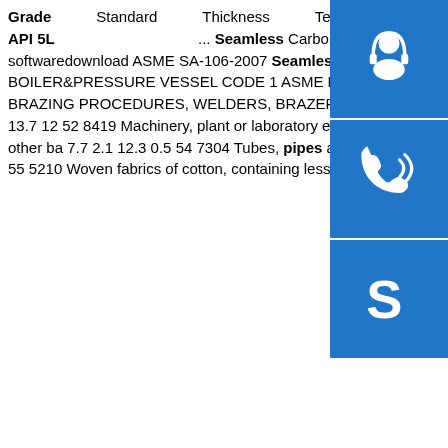Grade Standard Thickness Technique OD thread ... API 5CT API 5L ... Seamless Carbon steel Pipe Seamless line Pipes.sp.info 2008 softwaredownload ASME SA-106-2007 Seamless Carbon Steel Pipe high-temperature service ASME 2007 BOILER&PRESSURE VESSEL CODE 1 ASME BPVC SECTION IX-2007 QUALIFICATION STANDARD FOR WELDING AND BRAZING PROCEDURES, WELDERS, BRAZERS, AND WELDING AND BRAZING OPERATORSsp.info fta.mofcom.gov.cn7.6 13.7 12 52 8419 Machinery, plant or laboratory equipment, 1.8 3.8 12.5 0.5 53 8537 Boards,panels,consoles,desks,cabinets and other ba 7.7 2.1 12.3 0.5 54 7304 Tubes, pipes and hollow profiles, seamless, of iron (other than cast iron) or st 4.5 5.9 11.4 0.4 55 5210 Woven fabrics of cotton, containing less than 85% by weight of ...
[Figure (infographic): Three blue icon buttons stacked vertically on the right side: headset/customer service icon, phone icon, and Skype icon]